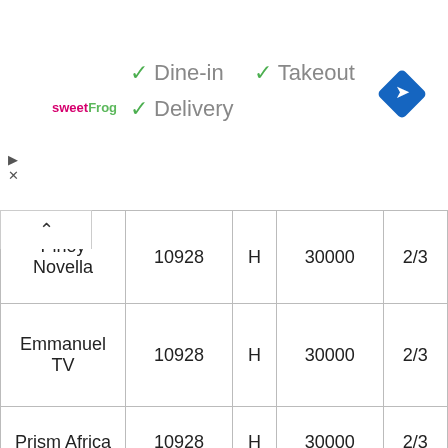[Figure (screenshot): Top banner ad area with sweetFrog logo, dine-in/takeout/delivery checkmarks, and blue navigation diamond icon]
| Pinoy Novella | 10928 | H | 30000 | 2/3 |
| Emmanuel TV | 10928 | H | 30000 | 2/3 |
| Prism Africa | 10928 | H | 30000 | 2/3 |
| Hope Channel Zambia | 10928 | H | 30000 | 2/3 |
| ESPN Africa | 10928 | H | 30000 | 2/3 |
| ESPN 2 | 10928 | H | 30000 | 2/3 |